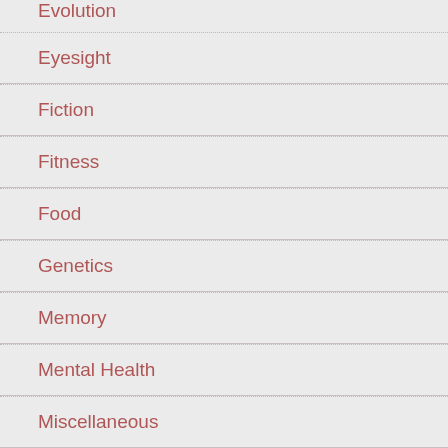Evolution
Eyesight
Fiction
Fitness
Food
Genetics
Memory
Mental Health
Miscellaneous
Parenting